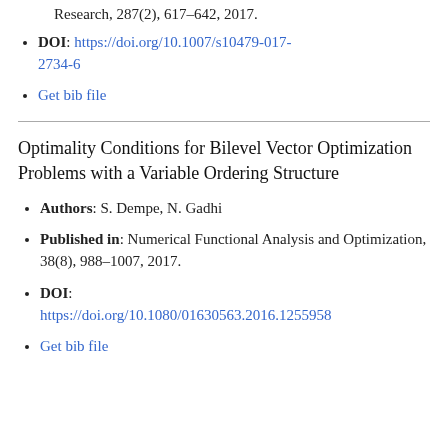Research, 287(2), 617–642, 2017.
DOI: https://doi.org/10.1007/s10479-017-2734-6
Get bib file
Optimality Conditions for Bilevel Vector Optimization Problems with a Variable Ordering Structure
Authors: S. Dempe, N. Gadhi
Published in: Numerical Functional Analysis and Optimization, 38(8), 988–1007, 2017.
DOI: https://doi.org/10.1080/01630563.2016.1255958
Get bib file